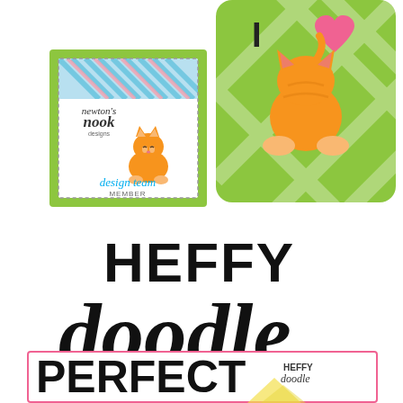[Figure (logo): Newton's Nook Designs design team member badge with green background, teal/blue diagonal stripes at top, dashed border, orange cat illustration, and text 'newton's nook designs design team member' in teal and black fonts]
[Figure (illustration): Green plaid background square with orange cartoon cat sitting with back turned, tail up, and pink heart above with letter I, forming 'I love [cat]']
[Figure (logo): Heffy Doodle logo with bold black sans-serif 'HEFFY' text and script cursive 'doodle' text in black]
[Figure (logo): Heffy Doodle product stamp showing 'PERFECT' in large bold black letters with pink/coral border, small Heffy Doodle logo in upper right, and yellow illustrated elements partially visible]